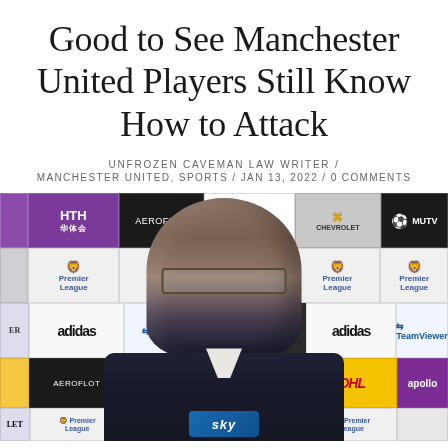Good to See Manchester United Players Still Know How to Attack
UNFROZEN CAVEMAN LAW WRITER /
MANCHESTER UNITED, SPORTS / JAN 13, 2022 / 0 COMMENTS
[Figure (photo): A man (Ralf Rangnick) in a dark suit standing in front of a Manchester United press backdrop showing sponsor logos including HTH, Aeroflot, Marriott, Chevrolet, MUTV, Premier League, adidas, TeamViewer, DHL, apollo, and others. He is holding or standing near a Sky Sports microphone.]